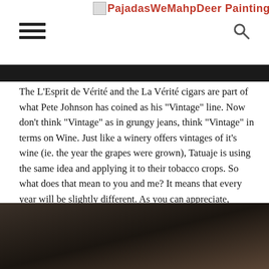PajadasWeMahpDeer Paintings
[Figure (photo): Dark image bar at top, partial view of a photograph]
The L’Esprit de Vérité and the La Vérité cigars are part of what Pete Johnson has coined as his “Vintage” line. Now don’t think “Vintage” as in grungy jeans, think “Vintage” in terms on Wine. Just like a winery offers vintages of it’s wine (ie. the year the grapes were grown), Tatuaje is using the same idea and applying it to their tobacco crops. So what does that mean to you and me? It means that every year will be slightly different. As you can appreciate, different weather will affect how the tobacco leaves grow and therefore will affect their flavors. The same percentage of a blend may not work as well the next year due to these subtle changes.
[Figure (photo): Dark close-up photograph, appears to show a cigar or tobacco product]